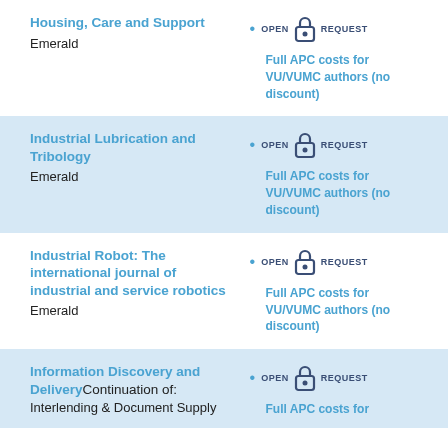Housing, Care and Support
Emerald
Full APC costs for VU/VUMC authors (no discount)
Industrial Lubrication and Tribology
Emerald
Full APC costs for VU/VUMC authors (no discount)
Industrial Robot: The international journal of industrial and service robotics
Emerald
Full APC costs for VU/VUMC authors (no discount)
Information Discovery and Delivery Continuation of: Interlending & Document Supply
Full APC costs for